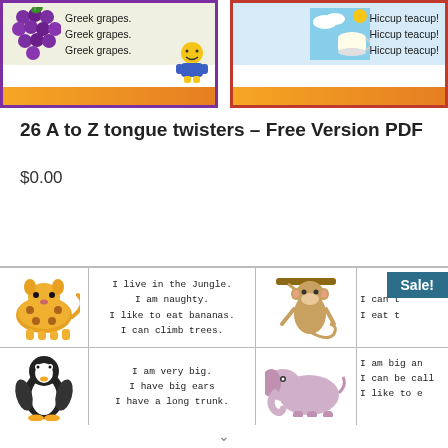[Figure (illustration): Two educational card thumbnails: left card shows grapes and a cartoon character with text 'Greek grapes. Greek grapes. Greek grapes.'; right card shows a teacup on sky background with text 'Hiccup teacup! Hiccup teacup! Hiccup teacup!']
26 A to Z tongue twisters – Free Version PDF
$0.00
[Figure (illustration): Bottom table showing animal illustrations with text descriptions. Row 1: leopard/tiger with 'I live in the Jungle. I am naughty. I like to eat bananas. I can climb trees.' and monkey with 'I can't... I eat t...'. Row 2: penguin with 'I am very big. I have big ears. I have a long trunk.' and elephant with 'I am big an... I can be call... I like to e...' Sale badge visible.]